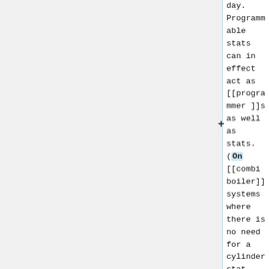day. Programmable stats can in effect act as [[programmer]]s as well as stats. (On [[combi boiler]] systems where there is no need for a cylinder stat, the system programmer can be dispensed with altogether.)